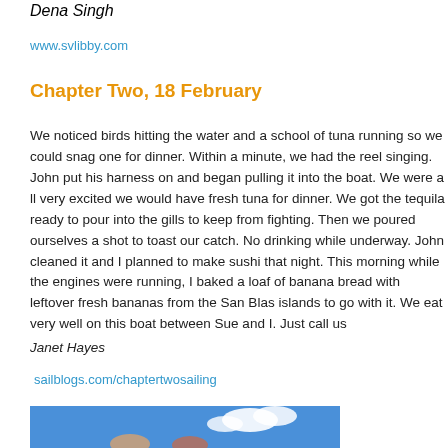Dena Singh
www.svlibby.com
Chapter Two, 18 February
We noticed birds hitting the water and a school of tuna running so we could snag one for dinner. Within a minute, we had the reel singing. John put his harness on and began pulling it into the boat. We were all very excited we would have fresh tuna for dinner. We got the tequila ready to pour into the gills to keep from fighting. Then we poured ourselves a shot to toast our catch. No drinking while underway. John cleaned it and I planned to make sushi that night. This morning while the engines were running, I baked a loaf of banana bread with leftover fresh bananas from the San Blas islands to go with it. We eat very well on this boat between Sue and I. Just call us
Janet Hayes
sailblogs.com/chaptertwosailing
[Figure (photo): Photo of people on a sailboat with blue sky and clouds in background]